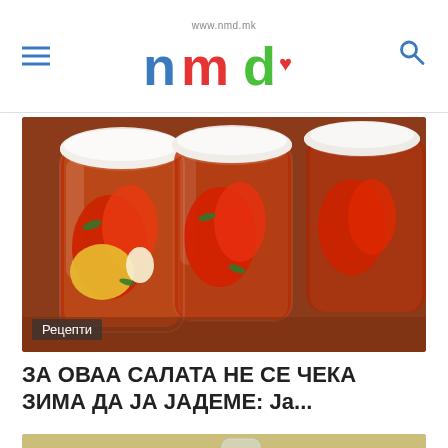www.nmd.mk — nmd netmedicaldiets logo
[Figure (photo): Glass jars filled with pickled peppers and vegetables (red and yellow bell peppers, herbs, garlic) with white lids, on a table. Category label 'Рецепти' overlaid at bottom left.]
ЗА ОВАА САЛАТА НЕ СЕ ЧЕКА ЗИМА ДА ЈА ЈАДЕМЕ: Ја...
[Figure (photo): Partial view of a food dish being served with a spoon, on a decorative white tablecloth, with a glass in background.]